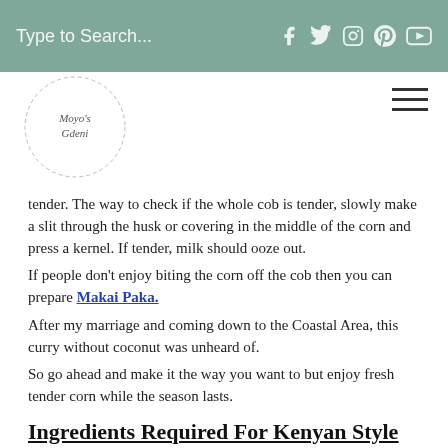Type to Search...
[Figure (logo): Circular logo with cursive text 'Moyo's Gdeni']
tender. The way to check if the whole cob is tender, slowly make a slit through the husk or covering in the middle of the corn and press a kernel. If tender, milk should ooze out.
If people don't enjoy biting the corn off the cob then you can prepare Makai Paka.
After my marriage and coming down to the Coastal Area, this curry without coconut was unheard of.
So go ahead and make it the way you want to but enjoy fresh tender corn while the season lasts.
Ingredients Required For Kenyan Style Corn On The Cob Coconut Curry
Fresh Corn On The Cob – make sure the corn is tender. Use either white or yellow one.
Water – normal tap water to cook the corn cobs and for the